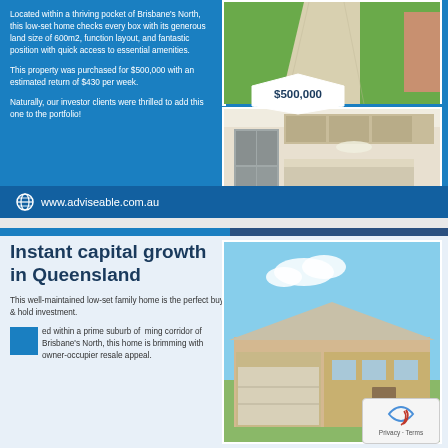Located within a thriving pocket of Brisbane's North, this low-set home checks every box with its generous land size of 600m2, function layout, and fantastic position with quick access to essential amenities.

This property was purchased for $500,000 with an estimated return of $430 per week.

Naturally, our investor clients were thrilled to add this one to the portfolio!
[Figure (photo): Aerial/front view of a driveway with green lawn]
[Figure (photo): Interior kitchen photo showing stainless steel fridge and island bench]
www.adviseable.com.au
Instant capital growth in Queensland
This well-maintained low-set family home is the perfect buy & hold investment.
Located within a prime suburb of an upcoming corridor of Brisbane's North, this home is brimming with owner-occupier resale appeal.
[Figure (photo): Exterior photo of a modern low-set brick family home with garage]